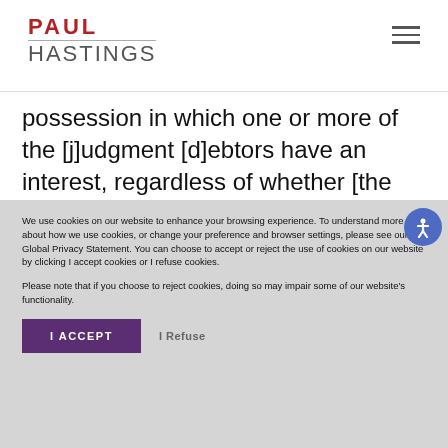Paul Hastings
possession in which one or more of the [j]udgment [d]ebtors have an interest, regardless of whether [the bank] possesses that money or other personal property in New York, China, the United Arab Emirates, or
We use cookies on our website to enhance your browsing experience. To understand more about how we use cookies, or change your preference and browser settings, please see our Global Privacy Statement. You can choose to accept or reject the use of cookies on our website by clicking I accept cookies or I refuse cookies.
Please note that if you choose to reject cookies, doing so may impair some of our website's functionality.